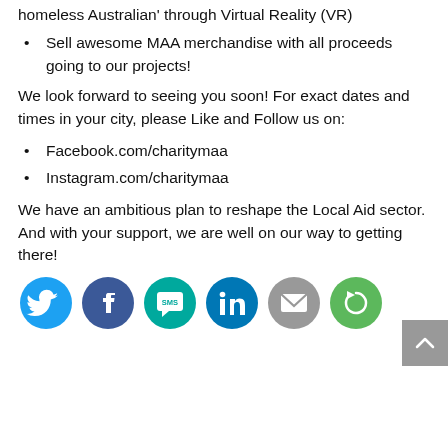homeless Australian' through Virtual Reality (VR)
Sell awesome MAA merchandise with all proceeds going to our projects!
We look forward to seeing you soon! For exact dates and times in your city, please Like and Follow us on:
Facebook.com/charitymaa
Instagram.com/charitymaa
We have an ambitious plan to reshape the Local Aid sector. And with your support, we are well on our way to getting there!
[Figure (infographic): Row of six social media sharing icons: Twitter (light blue), Facebook (dark blue), SMS (teal), LinkedIn (dark blue), Email/envelope (gray), and a subscribe/refresh icon (green).]